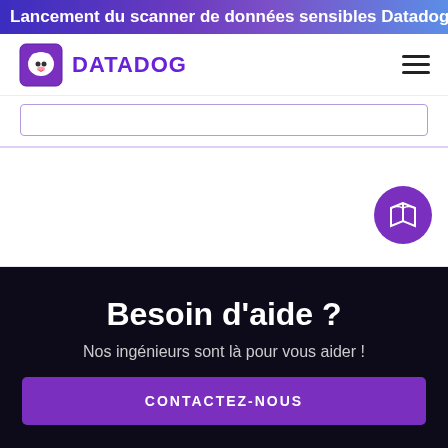Lancement du scanner de données sensibles Datadog
[Figure (logo): Datadog logo with dog mascot and purple DATADOG text]
CONTACTEZ-NOUS
Besoin d'aide ?
Nos ingénieurs sont là pour vous aider !
CONTACTEZ-NOUS